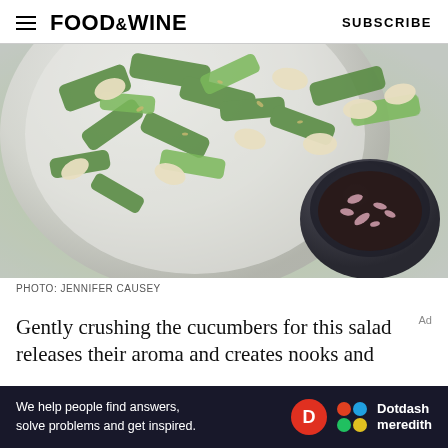FOOD&WINE  SUBSCRIBE
[Figure (photo): Overhead view of a bowl of cucumber salad with white beans and green vegetables, with a small dark bowl of garnish on the side, on a grey surface.]
PHOTO: JENNIFER CAUSEY
Gently crushing the cucumbers for this salad releases their aroma and creates nooks and
[Figure (other): Ad banner: 'We help people find answers, solve problems and get inspired.' with Dotdash Meredith logo.]